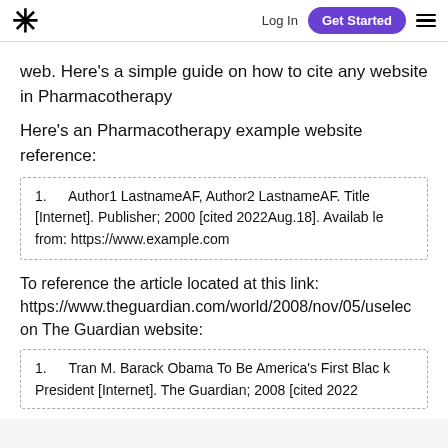* Log In Get Started ≡
web. Here's a simple guide on how to cite any website in Pharmacotherapy
Here's an Pharmacotherapy example website reference:
1. Author1 LastnameAF, Author2 LastnameAF. Title [Internet]. Publisher; 2000 [cited 2022Aug.18]. Available from: https://www.example.com
To reference the article located at this link: https://www.theguardian.com/world/2008/nov/05/uselec on The Guardian website:
1. Tran M. Barack Obama To Be America's First Black President [Internet]. The Guardian; 2008 [cited 2022